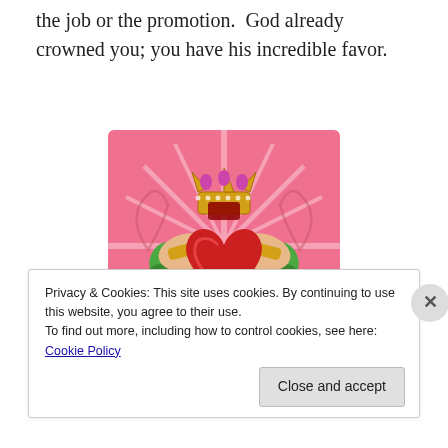the job or the promotion.  God already crowned you; you have his incredible favor.
[Figure (illustration): Illustration of a Claddagh symbol — two hands holding a crowned red heart, decorated with green shamrocks, on a pink sunburst background.]
Privacy & Cookies: This site uses cookies. By continuing to use this website, you agree to their use.
To find out more, including how to control cookies, see here: Cookie Policy
Close and accept